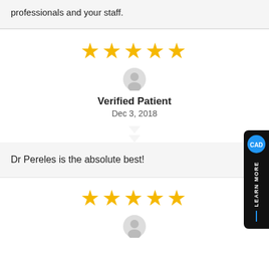professionals and your staff.
[Figure (other): 5 gold stars rating]
[Figure (other): User avatar icon (gray silhouette)]
Verified Patient
Dec 3, 2018
Dr Pereles is the absolute best!
[Figure (other): 5 gold stars rating (second review)]
[Figure (other): User avatar icon (gray silhouette, second review)]